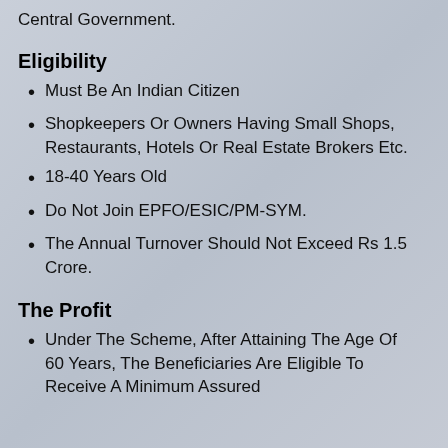Central Government.
Eligibility
Must Be An Indian Citizen
Shopkeepers Or Owners Having Small Shops, Restaurants, Hotels Or Real Estate Brokers Etc.
18-40 Years Old
Do Not Join EPFO/ESIC/PM-SYM.
The Annual Turnover Should Not Exceed Rs 1.5 Crore.
The Profit
Under The Scheme, After Attaining The Age Of 60 Years, The Beneficiaries Are Eligible To Receive A Minimum Assured